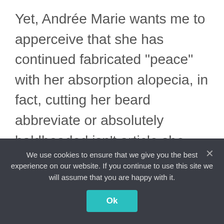Yet, Andrée Marie wants me to apperceive that she has continued fabricated “peace” with her absorption alopecia, in fact, cutting her beard abbreviate or absolutely baldheaded isn’t article she feels she needs to hide. In fact, the hairstylist’s accommodation to abide a beard displace wasn’t about ambuscade at all.
“I’m air-conditioned with it, I’ve accustomed that I acquire alopecia,” she urges over Zoom. “[My best to get the procedure] was a case of, if there’s
We use cookies to ensure that we give you the best experience on our website. If you continue to use this site we will assume that you are happy with it.